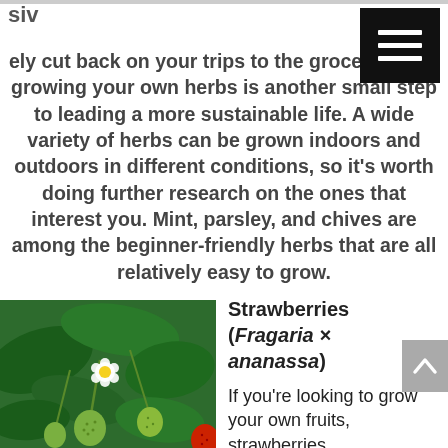siv
ely cut back on your trips to the grocery store, growing your own herbs is another small step to leading a more sustainable life. A wide variety of herbs can be grown indoors and outdoors in different conditions, so it’s worth doing further research on the ones that interest you. Mint, parsley, and chives are among the beginner-friendly herbs that are all relatively easy to grow.
[Figure (photo): Strawberry plant with green unripe strawberries and white flowers, surrounded by green leaves]
Strawberries (Fragaria × ananassa)
If you’re looking to grow your own fruits, strawberries